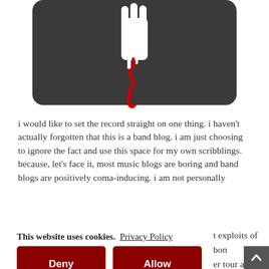[Figure (illustration): A dark gray/charcoal mousepad or fabric item with a white stylized hand graphic and a red telephone handset hanging from a cord.]
i would like to set the record straight on one thing. i haven't actually forgotten that this is a band blog. i am just choosing to ignore the fact and use this space for my own scribblings. because, let's face it, most music blogs are boring and band blogs are positively coma-inducing. i am not personally
t exploits of bon
er tour again
iey, don't you
utes 30 seconds
This website uses cookies.  Privacy Policy
Deny
Allow